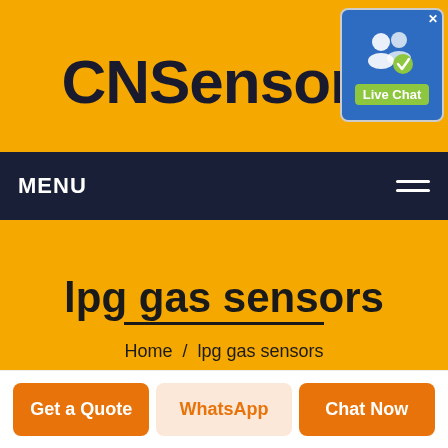CNSensors
[Figure (screenshot): Live Chat popup button with blue background, two user icons and a green checkmark, labeled 'Live Chat']
MENU
lpg gas sensors
Home  /  lpg gas sensors
Get a Quote
WhatsApp
Chat Now